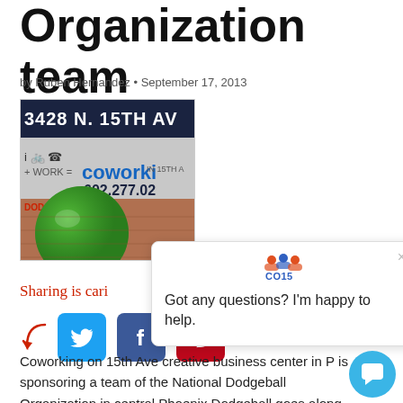Organization team
by Ruben Hernandez • September 17, 2013
[Figure (photo): Photo of a green dodgeball in front of a building sign reading '3428 N. 15TH AV', 'coworking', '602.277.02']
Sharing is caring
[Figure (screenshot): Chat widget popup with logo 'CO15' and text 'Got any questions? I'm happy to help.' with a close X button]
Coworking on 15th Ave creative business center in P... is sponsoring a team of the National Dodgeball Organization in central Phoenix Dodgeball goes along